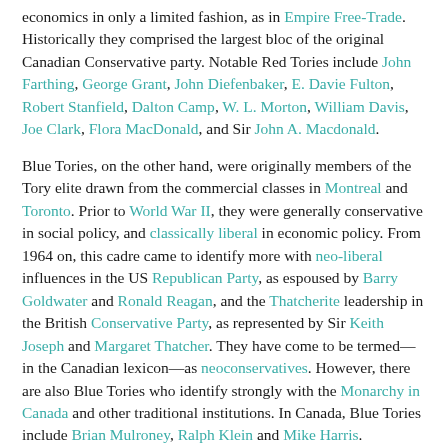economics in only a limited fashion, as in Empire Free-Trade. Historically they comprised the largest bloc of the original Canadian Conservative party. Notable Red Tories include John Farthing, George Grant, John Diefenbaker, E. Davie Fulton, Robert Stanfield, Dalton Camp, W. L. Morton, William Davis, Joe Clark, Flora MacDonald, and Sir John A. Macdonald.
Blue Tories, on the other hand, were originally members of the Tory elite drawn from the commercial classes in Montreal and Toronto. Prior to World War II, they were generally conservative in social policy, and classically liberal in economic policy. From 1964 on, this cadre came to identify more with neo-liberal influences in the US Republican Party, as espoused by Barry Goldwater and Ronald Reagan, and the Thatcherite leadership in the British Conservative Party, as represented by Sir Keith Joseph and Margaret Thatcher. They have come to be termed—in the Canadian lexicon—as neoconservatives. However, there are also Blue Tories who identify strongly with the Monarchy in Canada and other traditional institutions. In Canada, Blue Tories include Brian Mulroney, Ralph Klein and Mike Harris.
From 1891 until the party's dissolution, Red Tories generally dominated the highest rungs of the party and its leadership. The emerging neoconservatives of the 1970s were significantly reduced in numbers in the party by the late 1980s, and many of